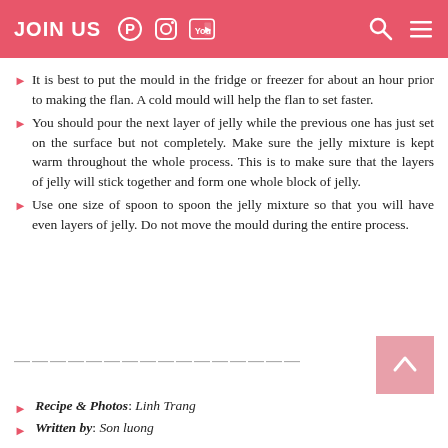JOIN US
It is best to put the mould in the fridge or freezer for about an hour prior to making the flan. A cold mould will help the flan to set faster.
You should pour the next layer of jelly while the previous one has just set on the surface but not completely. Make sure the jelly mixture is kept warm throughout the whole process. This is to make sure that the layers of jelly will stick together and form one whole block of jelly.
Use one size of spoon to spoon the jelly mixture so that you will have even layers of jelly. Do not move the mould during the entire process.
Recipe & Photos: Linh Trang
Written by: Son luong